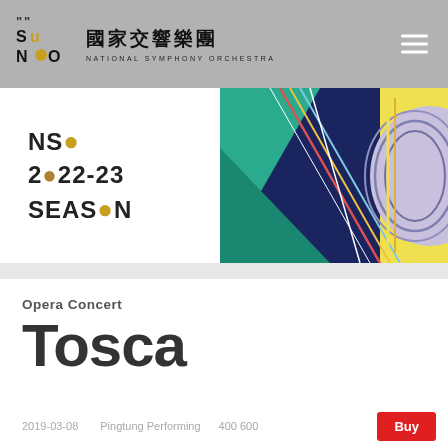NSO 國家交響樂團 NATIONAL SYMPHONY ORCHESTRA
[Figure (logo): NSO logo with Su Neo stylized letters in black and yellow]
[Figure (illustration): NSO 2022-23 SEASON banner with colorful geometric abstract artwork in teal, navy, pink, and lavender]
Opera Concert
Tosca
2019-03-08   Pingtung Performing   400 600   Buy